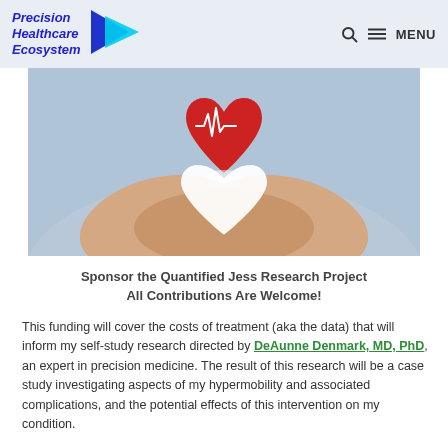Precision Healthcare Ecosystem — MENU
[Figure (photo): Hands cupping a red heart with a white heart-shaped cutout beneath it, with an EKG line on the red heart — a cardiology/health concept image]
Sponsor the Quantified Jess Research Project
All Contributions Are Welcome!
This funding will cover the costs of treatment (aka the data) that will inform my self-study research directed by DeAunne Denmark, MD, PhD, an expert in precision medicine. The result of this research will be a case study investigating aspects of my hypermobility and associated complications, and the potential effects of this intervention on my condition.